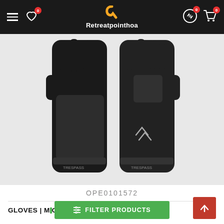Retreatpointhoa — navigation header with hamburger menu, wishlist (0), logo, compare (0), cart (0)
[Figure (photo): Black Trespass ski/winter gloves shown front and back view on a light grey background]
OPE0101572
GLOVES | M... OVES BLACK
[Figure (other): Green 'FILTER PRODUCTS' button with filter icon]
[Figure (other): Red 'back to top' arrow button]